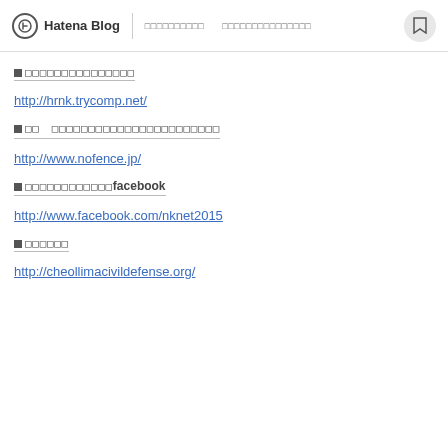Hatena Blog
■□□□□□□□□□□□□□□□
http://hrnk.trycomp.net/
■□□　□□□□□□□□□□□□□□□□□□□□□□□
http://www.nofence.jp/
■□□□□□□□□□□□□facebook
http://www.facebook.com/nknet2015
■□□□□□□
http://cheollimacivildefense.org/